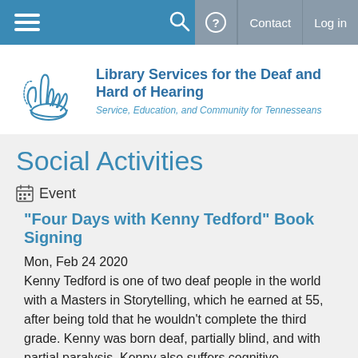Library Services for the Deaf and Hard of Hearing — Navigation bar with hamburger menu, search, help, Contact, Log in
[Figure (logo): Hand sign logo for Library Services for the Deaf and Hard of Hearing with text: Library Services for the Deaf and Hard of Hearing, Service, Education, and Community for Tennesseans]
Social Activities
Event
"Four Days with Kenny Tedford" Book Signing
Mon, Feb 24 2020
Kenny Tedford is one of two deaf people in the world with a Masters in Storytelling, which he earned at 55, after being told that he wouldn't complete the third grade. Kenny was born deaf, partially blind, and with partial paralysis. Kenny also suffers cognitive